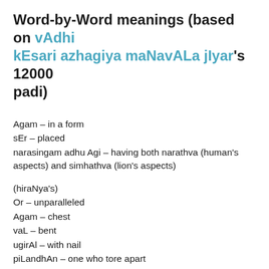Word-by-Word meanings (based on vAdhikEsari azhagiya maNavALa jIyar's 12000 padi)
Agam – in a form
sEr – placed
narasingam adhu Agi – having both narathva (human's aspects) and simhathva (lion's aspects)
(hiraNya's)
Or – unparalleled
Agam – chest
vaL – bent
ugirAl – with nail
piLandhAn – one who tore apart
uRai – residing
mAga vaigundham – SrIvaikuNtam
kANbadhaPku – to see